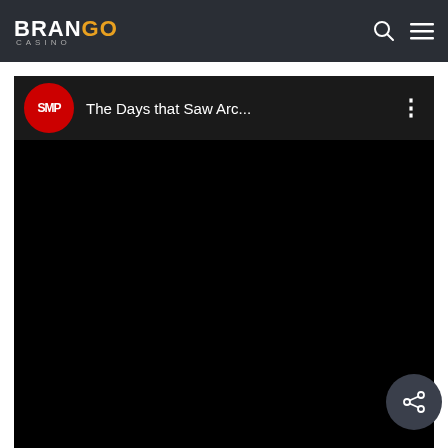Brango Casino — navbar with logo, search, and menu icons
[Figure (screenshot): YouTube embedded video player showing channel avatar with 'SMP' logo in red circle, title 'The Days that Saw Arc...' in white text on dark background, with three-dot menu icon. Video content area is black.]